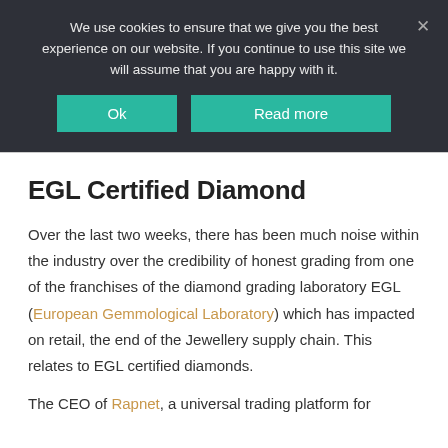We use cookies to ensure that we give you the best experience on our website. If you continue to use this site we will assume that you are happy with it.
Ok
Read more
EGL Certified Diamond
Over the last two weeks, there has been much noise within the industry over the credibility of honest grading from one of the franchises of the diamond grading laboratory EGL (European Gemmological Laboratory) which has impacted on retail, the end of the Jewellery supply chain. This relates to EGL certified diamonds.
The CEO of Rapnet, a universal trading platform for